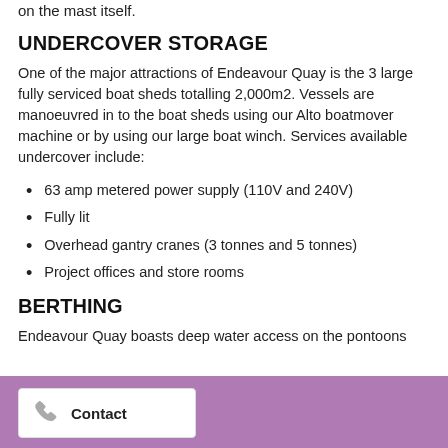on the mast itself.
UNDERCOVER STORAGE
One of the major attractions of Endeavour Quay is the 3 large fully serviced boat sheds totalling 2,000m2. Vessels are manoeuvred in to the boat sheds using our Alto boatmover machine or by using our large boat winch. Services available undercover include:
63 amp metered power supply (110V and 240V)
Fully lit
Overhead gantry cranes (3 tonnes and 5 tonnes)
Project offices and store rooms
BERTHING
Endeavour Quay boasts deep water access on the pontoons
Contact